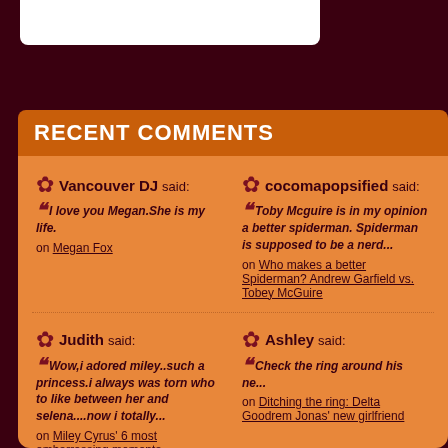RECENT COMMENTS
Vancouver DJ said: "I love you Megan.She is my life." on Megan Fox
cocomapopsified said: "Toby Mcguire is in my opinion a better spiderman. Spiderman is supposed to be a nerd..." on Who makes a better Spiderman? Andrew Garfield vs. Tobey McGuire
Judith said: "Wow,i adored miley..such a princess.i always was torn who to like between her and selena....now i totally..." on Miley Cyrus' 6 most embarrassing moments
Ashley said: "Check the ring around his ne..." on Ditching the ring: Delta Goodrem Jonas' new girlfriend